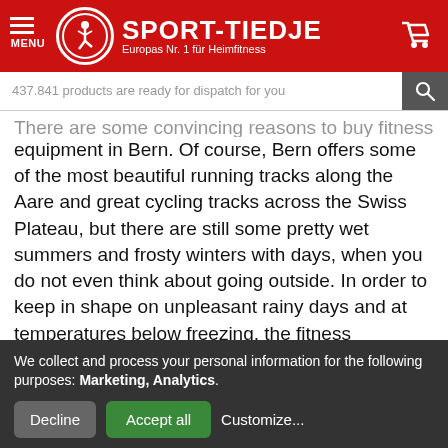[Figure (logo): Sport-Tiedje logo with red header, menu icon, circular logo with skater figure, brand name and tagline, and shopping cart icon]
437.841 products are ready for dispatch for you
There are some convincing reasons to buy fitness equipment in Bern. Of course, Bern offers some of the most beautiful running tracks along the Aare and great cycling tracks across the Swiss Plateau, but there are still some pretty wet summers and frosty winters with days, when you do not even think about going outside. In order to keep in shape on unpleasant rainy days and at temperatures below freezing, the fitness equipment in Bern is a great alternative. When it's stormy outside and it snows, you can
We collect and process your personal information for the following purposes: Marketing, Analytics.
Decline
Accept all
Customize...